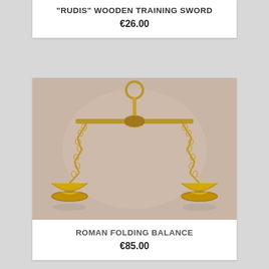"RUDIS" WOODEN TRAINING SWORD
€26.00
[Figure (photo): A brass/gold-colored Roman folding balance scale with two conical pans hanging from chains, suspended from a ring at the top, photographed against a light pink/beige background.]
ROMAN FOLDING BALANCE
€85.00